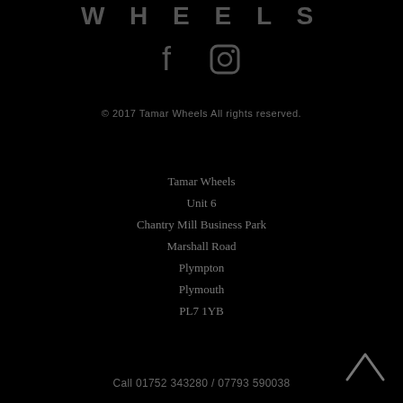WHEELS
[Figure (illustration): Facebook and Instagram social media icons in dark grey on black background]
© 2017 Tamar Wheels All rights reserved.
Tamar Wheels
Unit 6
Chantry Mill Business Park
Marshall Road
Plympton
Plymouth
PL7 1YB
Call 01752 343280 / 07793 590038
[Figure (illustration): Back to top chevron arrow icon in grey on black background, bottom right corner]